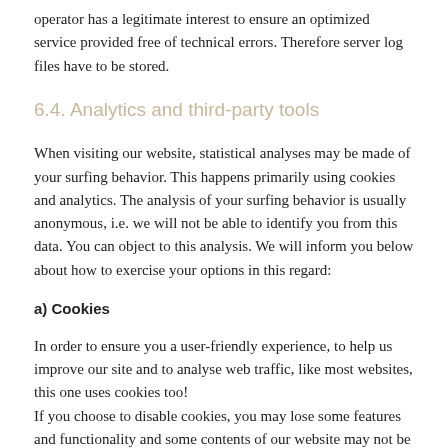operator has a legitimate interest to ensure an optimized service provided free of technical errors. Therefore server log files have to be stored.
6.4. Analytics and third-party tools
When visiting our website, statistical analyses may be made of your surfing behavior. This happens primarily using cookies and analytics. The analysis of your surfing behavior is usually anonymous, i.e. we will not be able to identify you from this data. You can object to this analysis. We will inform you below about how to exercise your options in this regard:
a) Cookies
In order to ensure you a user-friendly experience, to help us improve our site and to analyse web traffic, like most websites, this one uses cookies too!
If you choose to disable cookies, you may lose some features and functionality and some contents of our website may not be